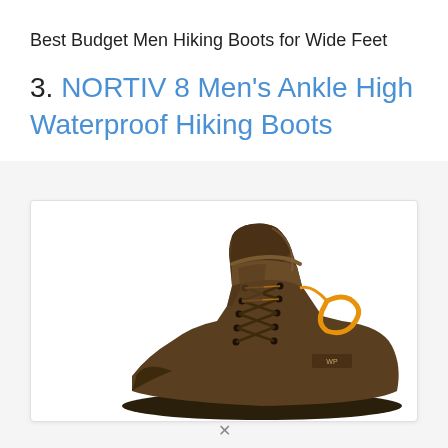Best Budget Men Hiking Boots for Wide Feet
3. NORTIV 8 Men’s Ankle High Waterproof Hiking Boots
[Figure (photo): Photo of a NORTIV 8 men’s ankle high waterproof hiking boot in brown with orange accent details, showing laces tied, viewed from a slight angle from above on a white background.]